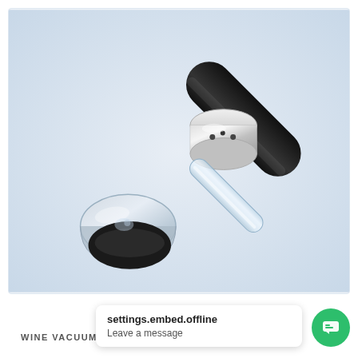[Figure (photo): A wine vacuum sealer product — a cylindrical device with a black rubber handle at top right, a silver/chrome collar with small holes, a clear transparent stem, and a clear acrylic base with a black rubber oval seal at the bottom left, photographed at an angle on a light blue-grey background.]
WINE VACUUM SEAL
settings.embed.offline
Leave a message